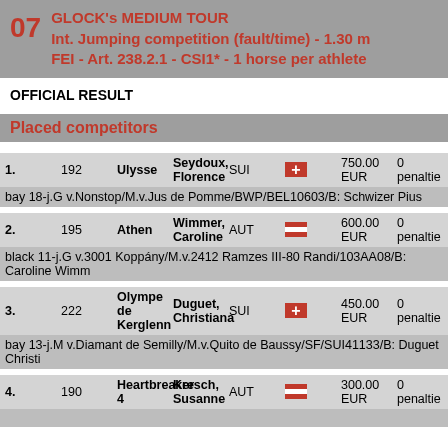07 GLOCK's MEDIUM TOUR Int. Jumping competition (fault/time) - 1.30 m FEI - Art. 238.2.1 - CSI1* - 1 horse per athlete
OFFICIAL RESULT
Placed competitors
| # | No | Horse | Rider | NAT | Flag | Prize | Penalties |
| --- | --- | --- | --- | --- | --- | --- | --- |
| 1. | 192 | Ulysse | Seydoux, Florence | SUI | SUI flag | 750.00 EUR | 0 penaltie |
|  |  | bay 18-j.G v.Nonstop/M.v.Jus de Pomme/BWP/BEL10603/B: Schwizer Pius |  |  |  |  |  |
| 2. | 195 | Athen | Wimmer, Caroline | AUT | AUT flag | 600.00 EUR | 0 penaltie |
|  |  | black 11-j.G v.3001 Koppány/M.v.2412 Ramzes III-80 Randi/103AA08/B: Caroline Wimm |  |  |  |  |  |
| 3. | 222 | Olympe de Kerglenn | Duguet, Christiana | SUI | SUI flag | 450.00 EUR | 0 penaltie |
|  |  | bay 13-j.M v.Diamant de Semilly/M.v.Quito de Baussy/SF/SUI41133/B: Duguet Christi |  |  |  |  |  |
| 4. | 190 | Heartbreaker 4 | Kresch, Susanne | AUT | AUT flag | 300.00 EUR | 0 penaltie |